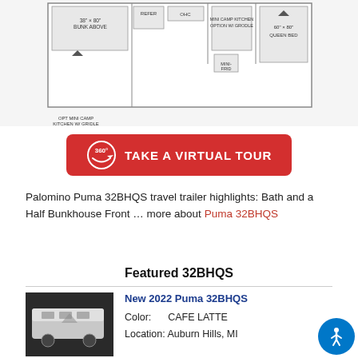[Figure (engineering-diagram): Partial floor plan of Palomino Puma 32BHQS travel trailer showing bunk above, opt mini camp kitchen w/ griddle, refer, OHC, mini camp kitchen option w/ griddle, mini-fridge, and 60x80 queen bed]
[Figure (other): Red button with 360-degree icon reading TAKE A VIRTUAL TOUR]
Palomino Puma 32BHQS travel trailer highlights: Bath and a Half Bunkhouse Front … more about Puma 32BHQS
Featured 32BHQS
[Figure (photo): Thumbnail photo of a white Palomino Puma travel trailer]
New 2022 Puma 32BHQS
Color: CAFE LATTE
Location: Auburn Hills, MI